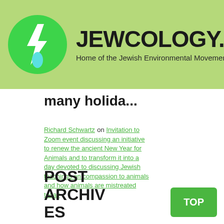[Figure (logo): Jewcology.org logo: green circle with white lightning bolt and water drop icon, followed by site name JEWCOLOGY.ORG and subtitle Home of the Jewish Environmental Movement]
many holida...
Richard Schwartz on Invitation to Zoom event discussing an initiative to renew the ancient New Year for Animals and to transform it into a day devoted to discussing Jewish teachings on compassion to animals and how animals are mistreated today
POST ARCHIVES
TOP